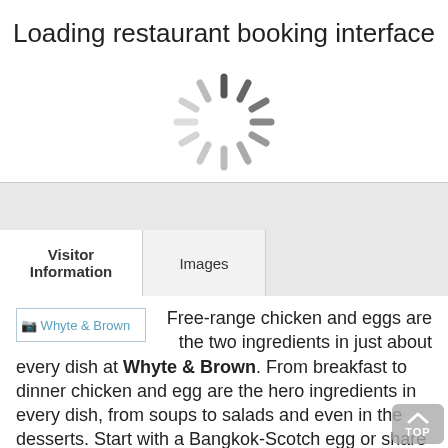Loading restaurant booking interface
[Figure (illustration): Circular loading spinner animation graphic with dark and light gray spokes radiating from center]
[Figure (screenshot): Gray navigation bar separator]
Visitor Information
Images
[Figure (illustration): Broken image placeholder with text 'Whyte & Brown' in blue beside restaurant description text]
Free-range chicken and eggs are the two ingredients in just about every dish at Whyte & Brown. From breakfast to dinner chicken and egg are the hero ingredients in every dish, from soups to salads and even in the desserts. Start with a Bangkok-Scotch egg or share polenta encrusted chicken strips. Move onto mains which include choices of pollo...